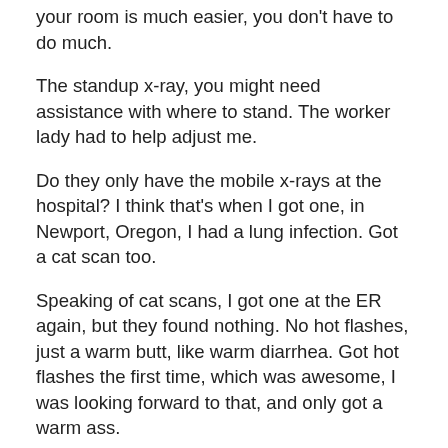your room is much easier, you don't have to do much.
The standup x-ray, you might need assistance with where to stand. The worker lady had to help adjust me.
Do they only have the mobile x-rays at the hospital? I think that's when I got one, in Newport, Oregon, I had a lung infection. Got a cat scan too.
Speaking of cat scans, I got one at the ER again, but they found nothing. No hot flashes, just a warm butt, like warm diarrhea. Got hot flashes the first time, which was awesome, I was looking forward to that, and only got a warm ass.
I had a new symptom, so they probably weren't focused on the puking thing. I haven't puked again.
But my stomach slightly hurts after shitting now.
She said I should wear my watch all the time. Probably a good idea. Then I'll know if my heart rate ever goes